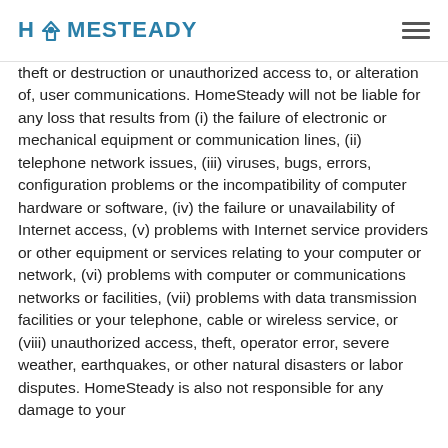HOMESTEADY
theft or destruction or unauthorized access to, or alteration of, user communications. HomeSteady will not be liable for any loss that results from (i) the failure of electronic or mechanical equipment or communication lines, (ii) telephone network issues, (iii) viruses, bugs, errors, configuration problems or the incompatibility of computer hardware or software, (iv) the failure or unavailability of Internet access, (v) problems with Internet service providers or other equipment or services relating to your computer or network, (vi) problems with computer or communications networks or facilities, (vii) problems with data transmission facilities or your telephone, cable or wireless service, or (viii) unauthorized access, theft, operator error, severe weather, earthquakes, or other natural disasters or labor disputes. HomeSteady is also not responsible for any damage to your